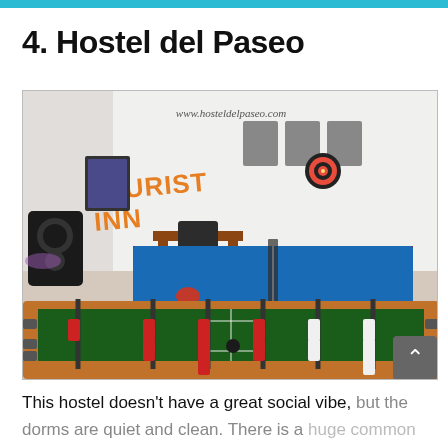4. Hostel del Paseo
[Figure (photo): Interior of Hostel del Paseo showing a game room with a foosball table in the foreground and a blue ping pong table in the background. Orange text on wall reads 'TOURIST INN'. Website watermark reads www.hosteldelpaseo.com.]
This hostel doesn't have a great social vibe, but the dorms are quiet and clean. There is a huge common area with lots of games and